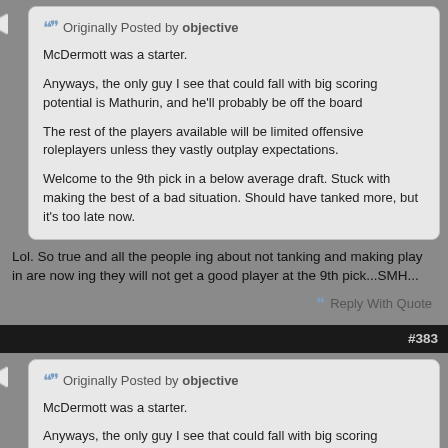Originally Posted by objective
McDermott was a starter.

Anyways, the only guy I see that could fall with big scoring potential is Mathurin, and he'll probably be off the board

The rest of the players available will be limited offensive roleplayers unless they vastly outplay expectations.

Welcome to the 9th pick in a below average draft. Stuck with making the best of a bad situation. Should have tanked more, but it's too late now.
Lol. So true and all the people ing about not tanking and making play in are now ing they will not get a good player at the 9th pick...SMH...
Reply With Quote
#383
Originally Posted by objective
McDermott was a starter.

Anyways, the only guy I see that could fall with big scoring potential is Mathurin, and he'll probably be off the board